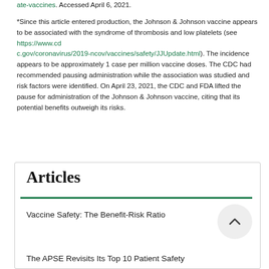*Since this article entered production, the Johnson & Johnson vaccine appears to be associated with the syndrome of thrombosis and low platelets (see https://www.cdc.gov/coronavirus/2019-ncov/vaccines/safety/JJUpdate.html). The incidence appears to be approximately 1 case per million vaccine doses. The CDC had recommended pausing administration while the association was studied and risk factors were identified. On April 23, 2021, the CDC and FDA lifted the pause for administration of the Johnson & Johnson vaccine, citing that its potential benefits outweigh its risks.
Articles
Vaccine Safety: The Benefit-Risk Ratio
The APSE Revisits Its Top 10 Patient Safety